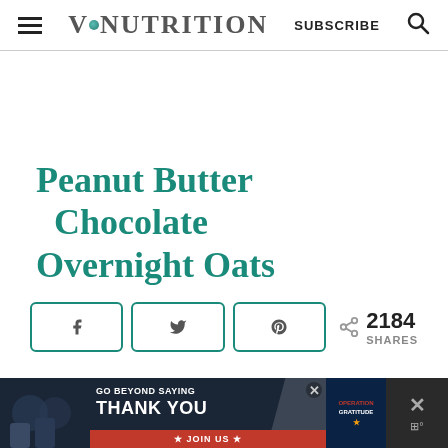V·NUTRITION   SUBSCRIBE
Peanut Butter Chocolate Overnight Oats
[Figure (infographic): Social share buttons (Facebook, Twitter, Pinterest) and share count showing 2184 SHARES]
[Figure (infographic): Bottom advertisement banner: GO BEYOND SAYING THANK YOU - OPERATION GRATITUDE JOIN US, with close button and side icons]